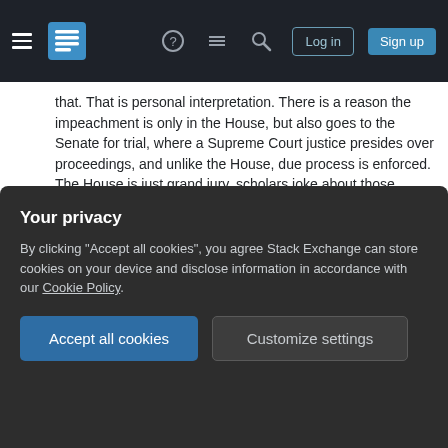Stack Exchange navigation bar with hamburger menu, logo, help, chat, search icons, Log in and Sign up buttons
that. That is personal interpretation. There is a reason the impeachment is only in the House, but also goes to the Senate for trial, where a Supreme Court justice presides over proceedings, and unlike the House, due process is enforced. The House is just grand jury, scholars joke about those proceedings as "they can indict a ham sandwich", which is why there is trial there too. So you should read more about the impeachment process. It is not a political tool to undo elections. But to safe guard the office. – R J Dec 24, 2019 at 1:37 ✏
Who said anything about undoing elections? You implied that the house must establish a crime or misdemeanor to impeach, which is false and
Your privacy
By clicking "Accept all cookies", you agree Stack Exchange can store cookies on your device and disclose information in accordance with our Cookie Policy.
Accept all cookies
Customize settings
posted the requirements of impeachment in the